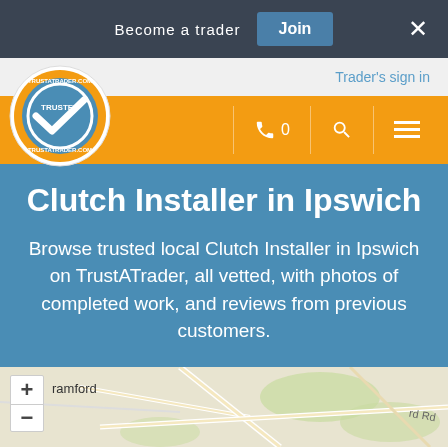Become a trader   Join   ×
Trader's sign in
[Figure (logo): TrustATrader.com circular logo with blue and orange colors, showing a checkmark and 'TRUSTED TRADERS' text]
Clutch Installer in Ipswich
Browse trusted local Clutch Installer in Ipswich on TrustATrader, all vetted, with photos of completed work, and reviews from previous customers.
[Figure (map): Street map showing area around Ipswich including Bramford, with roads and green spaces visible. Map has zoom controls (+/-) on the left side.]